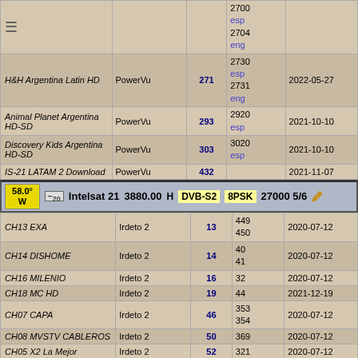| Channel | Encryption | SID | PIDs | Date |
| --- | --- | --- | --- | --- |
| H&H Argentina Latin HD | PowerVu | 271 | 2700 esp / 2704 eng / 2730 esp / 2731 eng | 2022-05-27 |
| Animal Planet Argentina HD-SD | PowerVu | 293 | 2920 esp | 2021-10-10 |
| Discovery Kids Argentina HD-SD | PowerVu | 303 | 3020 esp | 2021-10-10 |
| IS-21 LATAM 2 Download | PowerVu | 432 |  | 2021-11-07 |
58.0° W  Intelsat 21  3880.00 H  DVB-S2  8PSK  27000 5/6
| Channel | Encryption | SID | PIDs | Date |
| --- | --- | --- | --- | --- |
| CH13 EXA | Irdeto 2 | 13 | 449 / 450 | 2020-07-12 |
| CH14 DISHOME | Irdeto 2 | 14 | 40 / 41 | 2020-07-12 |
| CH16 MILENIO | Irdeto 2 | 16 | 32 | 2020-07-12 |
| CH18 MC HD | Irdeto 2 | 19 | 44 | 2021-12-19 |
| CH07 CAPA | Irdeto 2 | 46 | 353 / 354 | 2020-07-12 |
| CH08 MVSTV CABLEROS | Irdeto 2 | 50 | 369 | 2020-07-12 |
| CH05 X2 La Mejor | Irdeto 2 | 52 | 321 | 2020-07-12 |
| CH02 X2 Cine Latina USA | Irdeto 2 | 79 | 273 | 2020-07-12 |
| CH03 X2 Cine Latino | Irdeto 2 | 85 | 289 | 2020-07-12 |
| CH09 libre 1 | Irdeto 2 | 177 | 385 | 2022-07-17 |
| CH06 libre 1 | Irdeto 2 | 307 | 337 | 2022-07-17 |